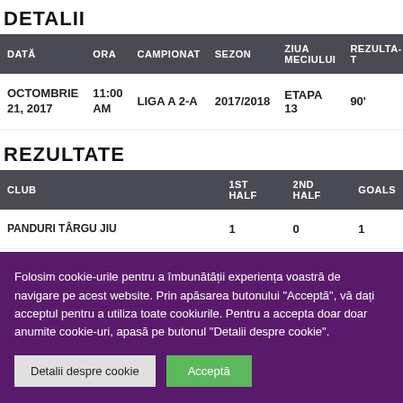DETALII
| DATĂ | ORA | CAMPIONAT | SEZON | ZIUA MECIULUI | REZULTA... |
| --- | --- | --- | --- | --- | --- |
| OCTOMBRIE 21, 2017 | 11:00 AM | LIGA A 2-A | 2017/2018 | ETAPA 13 | 90' |
REZULTATE
| CLUB |  |  | 1ST HALF | 2ND HALF | GOALS |
| --- | --- | --- | --- | --- | --- |
| PANDURI TÂRGU JIU |  |  | 1 | 0 | 1 |
Folosim cookie-urile pentru a îmbunătății experiența voastră de navigare pe acest website. Prin apăsarea butonului "Acceptă", vă dați acceptul pentru a utiliza toate cookiurile. Pentru a accepta doar doar anumite cookie-uri, apasă pe butonul "Detalii despre cookie".